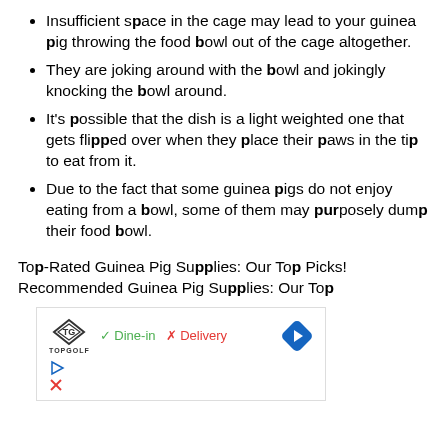Insufficient space in the cage may lead to your guinea pig throwing the food bowl out of the cage altogether.
They are joking around with the bowl and jokingly knocking the bowl around.
It's possible that the dish is a light weighted one that gets flipped over when they place their paws in the tip to eat from it.
Due to the fact that some guinea pigs do not enjoy eating from a bowl, some of them may purposely dump their food bowl.
Top-Rated Guinea Pig Supplies: Our Top Picks!
Recommended Guinea Pig Supplies: Our Top
[Figure (other): Advertisement banner showing Topgolf logo with Dine-in checkmark and Delivery X, and a blue navigation arrow diamond icon, with play and close icons below.]